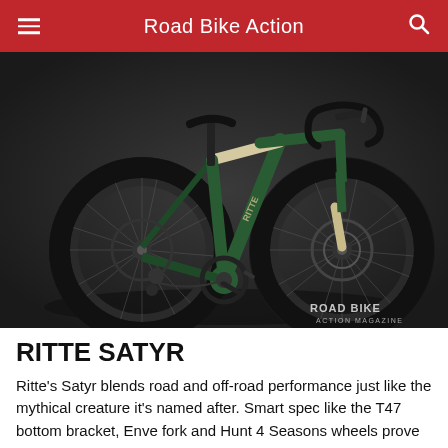Road Bike Action
[Figure (photo): A green and cream/beige Ritte Satyr gravel/road bicycle with drop handlebars, disc brakes, and black wheels, photographed against a dark grey studio background. Road Bike Action Magazine watermark in bottom right corner.]
RITTE SATYR
Ritte's Satyr blends road and off-road performance just like the mythical creature it's named after. Smart spec like the T47 bottom bracket, Enve fork and Hunt 4 Seasons wheels prove the crew at Ritte know how to provide value to the consumer